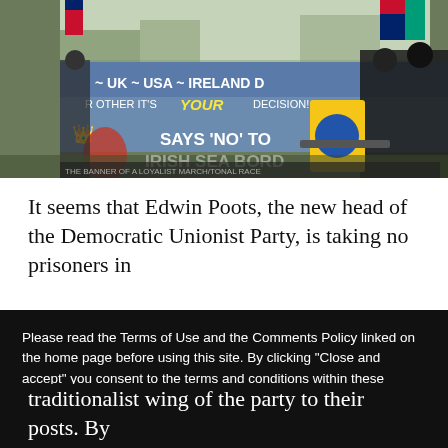[Figure (photo): Protest march with people holding flags and a banner reading 'UK ~ USA ~ IRELAND ~ YOUR DECISION' and 'SAYS NO TO IRISH SEA BORD', some protesters wearing balaclavas]
It seems that Edwin Poots, the new head of the Democratic Unionist Party, is taking no prisoners in
Please read the Terms of Use and the Comments Policy linked on the home page before using this site. By clicking "Close and accept" you consent to the terms and conditions within these policies. If you do not consent please leave this site immediately. This site uses cookies. By continuing to browse this site you agree to the use of these cookies. Learn more, including how to disable cookies, through the Privacy Policy
traditionalist wing of the party to their posts. By